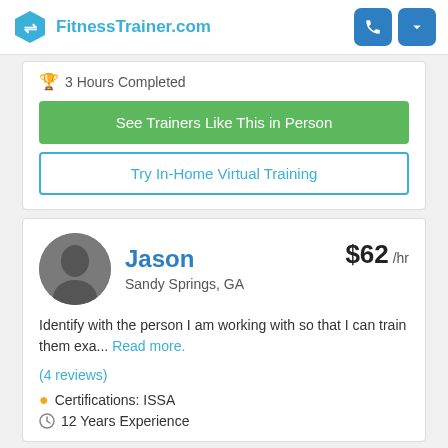FitnessTrainer.com
3 Hours Completed
See Trainers Like This in Person
Try In-Home Virtual Training
Jason
Sandy Springs, GA
$62 /hr
Identify with the person I am working with so that I can train them exa... Read more.
(4 reviews)
Certifications: ISSA
12 Years Experience